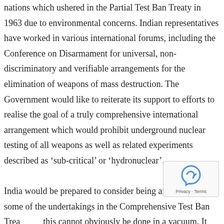nations which ushered in the Partial Test Ban Treaty in 1963 due to environmental concerns. Indian representatives have worked in various international forums, including the Conference on Disarmament for universal, non-discriminatory and verifiable arrangements for the elimination of weapons of mass destruction. The Government would like to reiterate its support to efforts to realise the goal of a truly comprehensive international arrangement which would prohibit underground nuclear testing of all weapons as well as related experiments described as 'sub-critical' or 'hydronuclear'.

India would be prepared to consider being an adherent to some of the undertakings in the Comprehensive Test Ban Treaty but this cannot obviously be done in a vacuum. It would necessarily